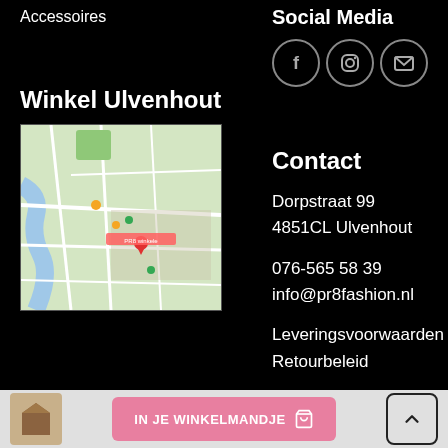Accessoires
Social Media
[Figure (infographic): Three circular social media icons: Facebook (f), Instagram (camera), and email (envelope)]
Winkel Ulvenhout
[Figure (map): Google Maps view of Ulvenhout town center showing street layout, with a red location pin marking the store location]
Contact
Dorpstraat 99
4851CL Ulvenhout
076-565 58 39
info@pr8fashion.nl
Leveringsvoorwaarden
Retourbeleid
IN JE WINKELMANDJE